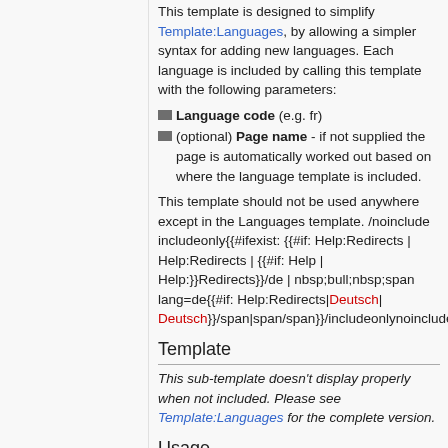This template is designed to simplify Template:Languages, by allowing a simpler syntax for adding new languages. Each language is included by calling this template with the following parameters:
Language code (e.g. fr)
(optional) Page name - if not supplied the page is automatically worked out based on where the language template is included.
This template should not be used anywhere except in the Languages template. /noinclude includeonly{{#ifexist: {{#if: Help:Redirects | Help:Redirects | {{#if: Help | Help:}}Redirects}}/de | nbsp;bull;nbsp;span lang=de{{#if: Help:Redirects|Deutsch|Deutsch}}/span|span/span}}/includeonlynoinclude
Template
This sub-template doesn't display properly when not included. Please see Template:Languages for the complete version.
Usage